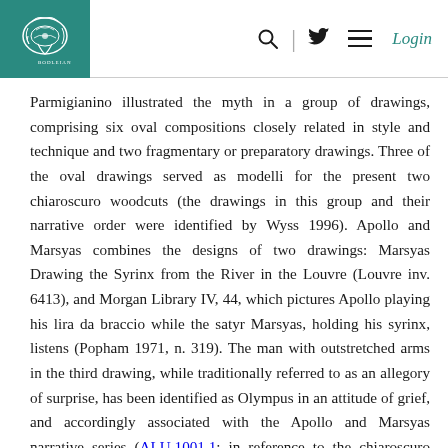[Logo] | Search | Twitter | Menu | Login
Parmigianino illustrated the myth in a group of drawings, comprising six oval compositions closely related in style and technique and two fragmentary or preparatory drawings. Three of the oval drawings served as modelli for the present two chiaroscuro woodcuts (the drawings in this group and their narrative order were identified by Wyss 1996). Apollo and Marsyas combines the designs of two drawings: Marsyas Drawing the Syrinx from the River in the Louvre (Louvre inv. 6413), and Morgan Library IV, 44, which pictures Apollo playing his lira da braccio while the satyr Marsyas, holding his syrinx, listens (Popham 1971, n. 319). The man with outstretched arms in the third drawing, while traditionally referred to as an allegory of surprise, has been identified as Olympus in an attitude of grief, and accordingly associated with the Apollo and Marsyas narrative series (ALU.1001.1; in reference to the chiaroscuro woodcut, Bartsch interpreted this figure as a